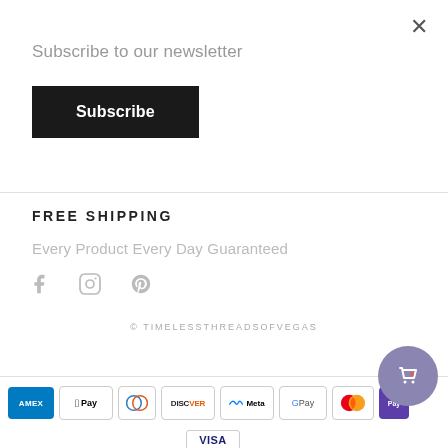×
Subscribe to our newsletter
Subscribe
FREE SHIPPING
Every Product Every Day Guaranteed
[Figure (illustration): Social media icons: Facebook, Instagram, Pinterest]
© TIMELESSTHREADSOFVEGAS
[Figure (illustration): Payment method icons: Amex, Apple Pay, Diners Club, Discover, Meta Pay, Google Pay, Mastercard, Shopify Pay]
[Figure (illustration): Visa payment icon]
[Figure (illustration): Cart bubble icon with shopping bag and heart]